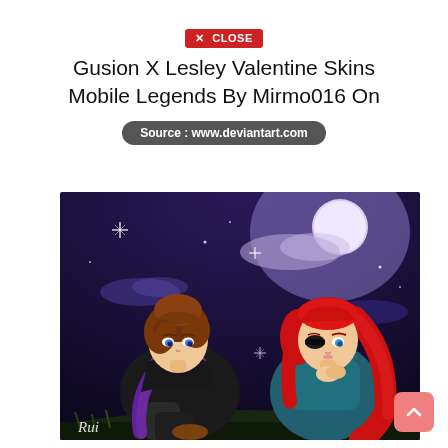✕ CLOSE
Gusion X Lesley Valentine Skins Mobile Legends By Mirmo016 On
Source : www.deviantart.com
[Figure (illustration): Anime-style illustration of two characters sitting outdoors at night. Left: a male character with brown hair wearing a black jacket and purple scarf. Right: a female character with long red hair wearing a teal outfit, with one eye covered. Night sky background with moon, clouds, and sparkle stars. Artist signature 'Rui' in lower left corner.]